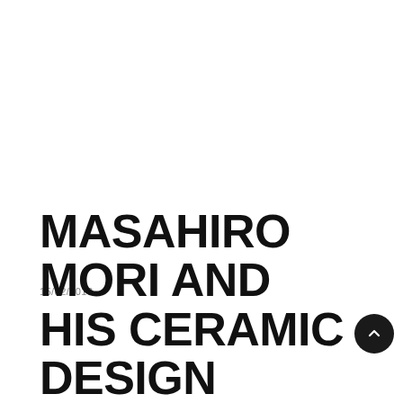15/02/2013
MASAHIRO MORI AND HIS CERAMIC DESIGN